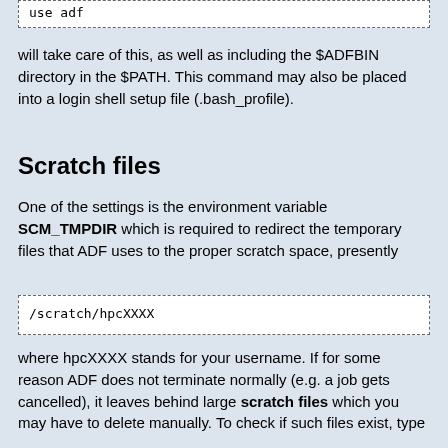[Figure (screenshot): Code box showing 'use adf' command]
will take care of this, as well as including the $ADFBIN directory in the $PATH. This command may also be placed into a login shell setup file (.bash_profile).
Scratch files
One of the settings is the environment variable SCM_TMPDIR which is required to redirect the temporary files that ADF uses to the proper scratch space, presently
[Figure (screenshot): Code box showing '/scratch/hpcXXXX']
where hpcXXXX stands for your username. If for some reason ADF does not terminate normally (e.g. a job gets cancelled), it leaves behind large scratch files which you may have to delete manually. To check if such files exist, type
[Figure (screenshot): Code box showing 'ls -lt /scratch/hpcXXXX']
Usually the scratch files are in sub-directories that start with